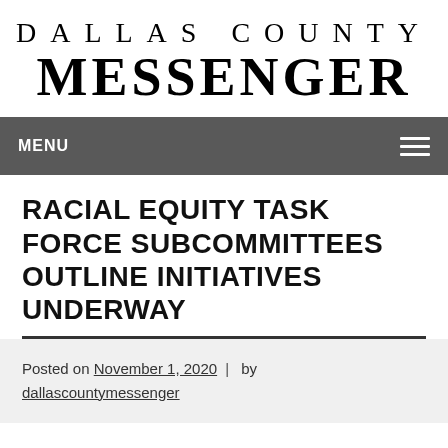DALLAS COUNTY MESSENGER
MENU
RACIAL EQUITY TASK FORCE SUBCOMMITTEES OUTLINE INITIATIVES UNDERWAY
Posted on November 1, 2020 | by dallascountymessenger